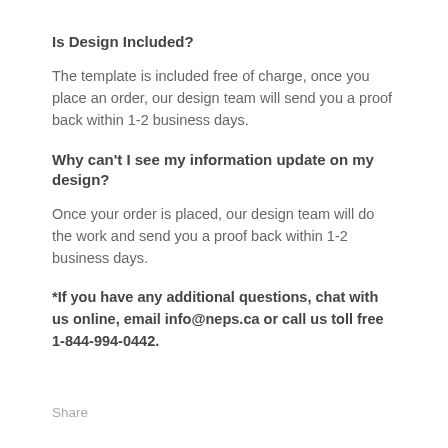Is Design Included?
The template is included free of charge, once you place an order, our design team will send you a proof back within 1-2 business days.
Why can't I see my information update on my design?
Once your order is placed, our design team will do the work and send you a proof back within 1-2 business days.
*If you have any additional questions, chat with us online, email info@neps.ca or call us toll free 1-844-994-0442.
Share